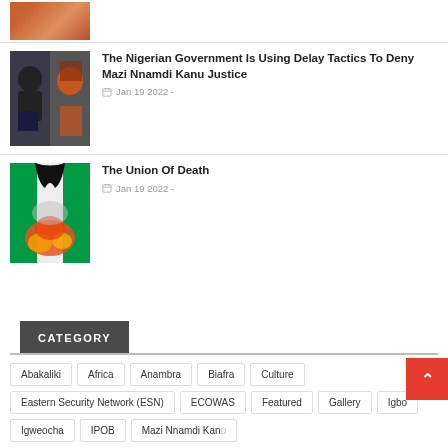[Figure (photo): Partial thumbnail image at top of page (cropped article image)]
[Figure (photo): Thumbnail image for Nigerian Government article - two men's faces]
The Nigerian Government Is Using Delay Tactics To Deny Mazi Nnamdi Kanu Justice
Jan 19 2022 -
[Figure (photo): Thumbnail image for The Union Of Death article - Nigerian flag and fire]
The Union Of Death
Jan 19 2022 -
CATEGORY
Abakaliki
Africa
Anambra
Biafra
Culture
Eastern Security Network (ESN)
ECOWAS
Featured
Gallery
Igbo
Igweocha
IPOB
Mazi Nnamdi Kanu